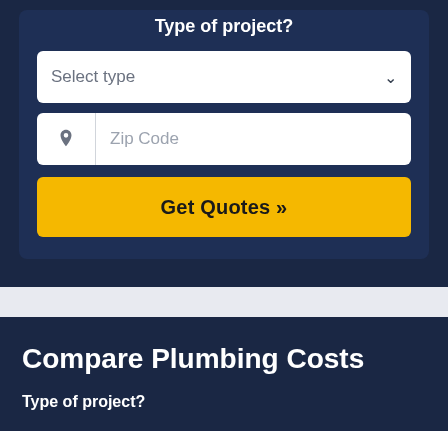Type of project?
[Figure (screenshot): A web form UI with a 'Select type' dropdown, a 'Zip Code' input field with a pin icon, and a yellow 'Get Quotes »' button, all on a dark navy background]
Compare Plumbing Costs
Type of project?